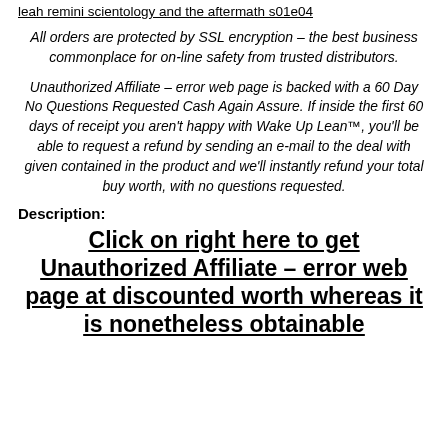leah remini scientology and the aftermath s01e04
All orders are protected by SSL encryption – the best business commonplace for on-line safety from trusted distributors.
Unauthorized Affiliate – error web page is backed with a 60 Day No Questions Requested Cash Again Assure. If inside the first 60 days of receipt you aren't happy with Wake Up Lean™, you'll be able to request a refund by sending an e-mail to the deal with given contained in the product and we'll instantly refund your total buy worth, with no questions requested.
Description:
Click on right here to get Unauthorized Affiliate – error web page at discounted worth whereas it is nonetheless obtainable